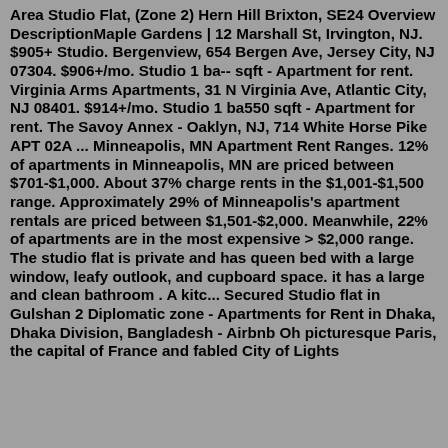Area Studio Flat, (Zone 2) Hern Hill Brixton, SE24 Overview DescriptionMaple Gardens | 12 Marshall St, Irvington, NJ. $905+ Studio. Bergenview, 654 Bergen Ave, Jersey City, NJ 07304. $906+/mo. Studio 1 ba-- sqft - Apartment for rent. Virginia Arms Apartments, 31 N Virginia Ave, Atlantic City, NJ 08401. $914+/mo. Studio 1 ba550 sqft - Apartment for rent. The Savoy Annex - Oaklyn, NJ, 714 White Horse Pike APT 02A ... Minneapolis, MN Apartment Rent Ranges. 12% of apartments in Minneapolis, MN are priced between $701-$1,000. About 37% charge rents in the $1,001-$1,500 range. Approximately 29% of Minneapolis's apartment rentals are priced between $1,501-$2,000. Meanwhile, 22% of apartments are in the most expensive > $2,000 range. The studio flat is private and has queen bed with a large window, leafy outlook, and cupboard space. it has a large and clean bathroom . A kitc... Secured Studio flat in Gulshan 2 Diplomatic zone - Apartments for Rent in Dhaka, Dhaka Division, Bangladesh - Airbnb Oh picturesque Paris, the capital of France and fabled City of Lights